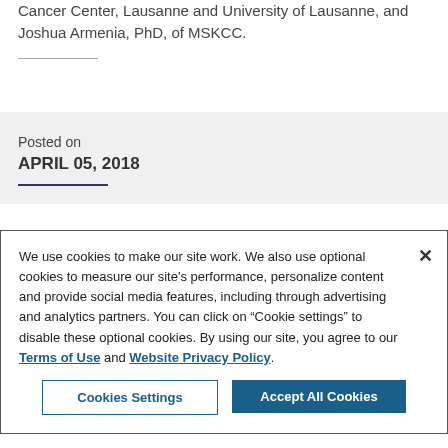Joshua Armenia, PhD, of MSKCC.
Posted on
APRIL 05, 2018
We use cookies to make our site work. We also use optional cookies to measure our site's performance, personalize content and provide social media features, including through advertising and analytics partners. You can click on “Cookie settings” to disable these optional cookies. By using our site, you agree to our Terms of Use and Website Privacy Policy.
Cookies Settings
Accept All Cookies